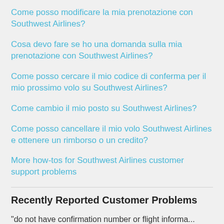Come posso modificare la mia prenotazione con Southwest Airlines?
Cosa devo fare se ho una domanda sulla mia prenotazione con Southwest Airlines?
Come posso cercare il mio codice di conferma per il mio prossimo volo su Southwest Airlines?
Come cambio il mio posto su Southwest Airlines?
Come posso cancellare il mio volo Southwest Airlines e ottenere un rimborso o un credito?
More how-tos for Southwest Airlines customer support problems
Recently Reported Customer Problems
"do not have confirmation number or flight informa...
"I called for lost and found, spoke to A Lisa and was i